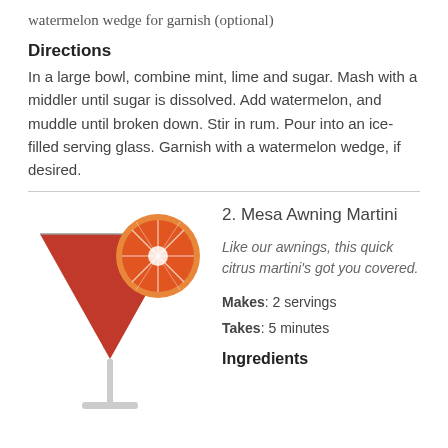watermelon wedge for garnish (optional)
Directions
In a large bowl, combine mint, lime and sugar. Mash with a middler until sugar is dissolved. Add watermelon, and muddle until broken down. Stir in rum. Pour into an ice-filled serving glass. Garnish with a watermelon wedge, if desired.
[Figure (illustration): A martini glass filled with red/orange liquid, with a sliced citrus (blood orange or grapefruit) wedge on the rim]
2. Mesa Awning Martini
Like our awnings, this quick citrus martini’s got you covered.
Makes: 2 servings
Takes: 5 minutes
Ingredients